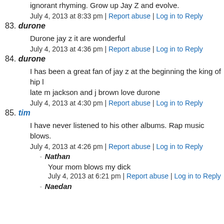ignorant rhyming. Grow up Jay Z and evolve.
July 4, 2013 at 8:33 pm | Report abuse | Log in to Reply
83. durone
Durone jay z it are wonderful
July 4, 2013 at 4:36 pm | Report abuse | Log in to Reply
84. durone
I has been a great fan of jay z at the beginning the king of hip l late m jackson and j brown love durone
July 4, 2013 at 4:30 pm | Report abuse | Log in to Reply
85. tim
I have never listened to his other albums. Rap music blows.
July 4, 2013 at 4:26 pm | Report abuse | Log in to Reply
Nathan
Your mom blows my dick
July 4, 2013 at 6:21 pm | Report abuse | Log in to Reply
Naedan